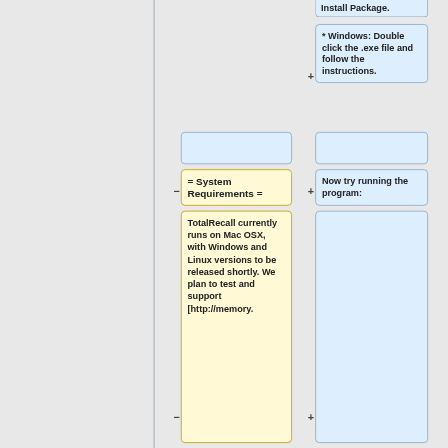[Figure (flowchart): Wiki-style flowchart/diff view showing installation instructions. Left panel is gray/empty. Right side shows connected boxes. Top-right blue box shows partial 'Install Package.' text. Below it a blue box with '* Windows: Double click the .exe file and follow the instructions.' A blue empty box and yellow empty box appear in the middle row. Yellow box shows '= System Requirements =' with minus connector. Blue box shows 'Now try running the program:' with plus connector. Bottom left yellow box shows 'TotalRecall currently runs on Mac OSX, with Windows and Linux versions to be released shortly. We plan to test and support [http://memory.' with minus connector. Bottom right blue box is empty with plus connector.]